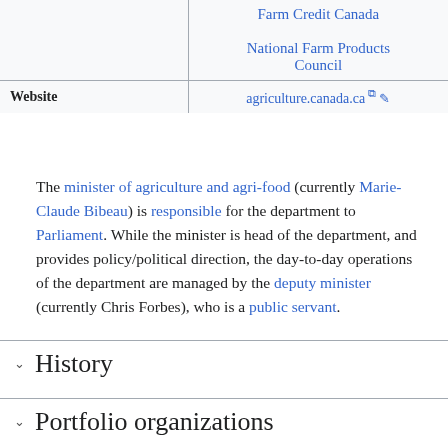|  | Farm Credit Canada
National Farm Products Council |
| Website | agriculture.canada.ca |
The minister of agriculture and agri-food (currently Marie-Claude Bibeau) is responsible for the department to Parliament. While the minister is head of the department, and provides policy/political direction, the day-to-day operations of the department are managed by the deputy minister (currently Chris Forbes), who is a public servant.
History
Portfolio organizations